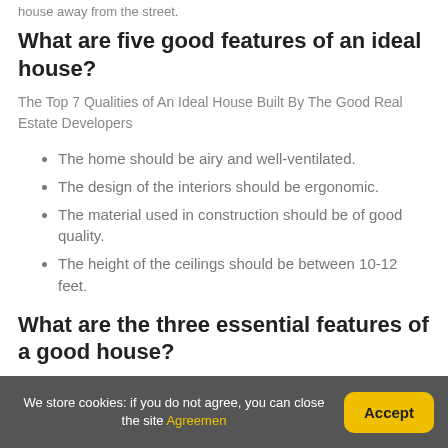house away from the street.
What are five good features of an ideal house?
The Top 7 Qualities of An Ideal House Built By The Good Real Estate Developers
The home should be airy and well-ventilated.
The design of the interiors should be ergonomic.
The material used in construction should be of good quality.
The height of the ceilings should be between 10-12 feet.
What are the three essential features of a good house?
We store cookies: if you do not agree, you can close the site Agreemen